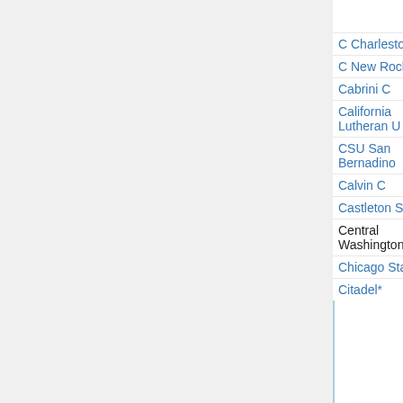| Institution | Area | Date | Notes |
| --- | --- | --- | --- |
|  |  |  | Ralston, ... filled □ |
| C Charleston* | analysis (p) | Aug 16 | (→C) Bene Charbonne |
| C New Rochelle | ? | Dec 7 | (M) filled □ |
| Cabrini C | all math | Nov 30 | (P!) (C!) filled □ |
| California Lutheran U | all math | Nov 6 | (M) filled □ |
| CSU San Bernadino | education (p) | Jan 9 |  |
| Calvin C | math/stat | Dec 1 | cancelled |
| Castleton State C | math/stat | Oct 15 | (C!) Colin McKinney, filled □ |
| Central Washington U | math | ? | (M) filled □ |
| Chicago State U* | various | Dec 15 | (P) (C) |
| Citadel* | all math | Nov | (C) John |